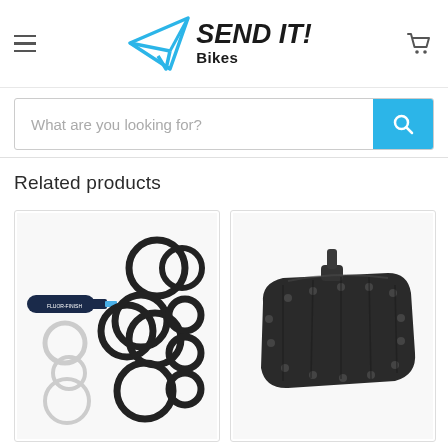[Figure (logo): Send It! Bikes logo with paper airplane icon in cyan/blue and bold italic black text]
What are you looking for?
Related products
[Figure (photo): O-ring seal kit product image with various sized rubber O-rings and a tube of lubricant on white background]
[Figure (photo): Black MTB bike pedal product image on white background]